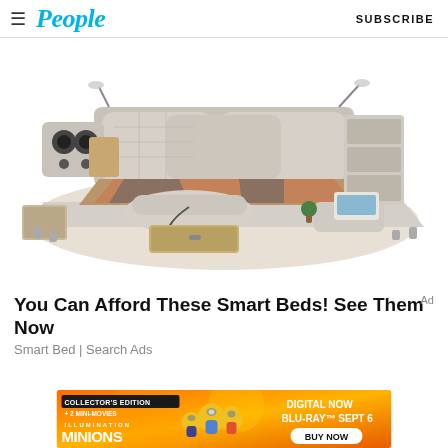People | SUBSCRIBE
[Figure (photo): A large multifunctional smart bed with cream/beige leather upholstery, built-in speakers, storage drawers, reading lamps, massage chair, shelving, and a laptop stand, shown from an elevated angle against a white background.]
You Can Afford These Smart Beds! See Them Now
Smart Bed | Search Ads
[Figure (infographic): Minions: The Rise of Gru movie advertisement banner. Left side: Collector's Edition + 2 Mini-Movies. Center: Minions and characters illustration. Right side: Digital Now, Blu-Ray Sept 6, Buy Now button.]